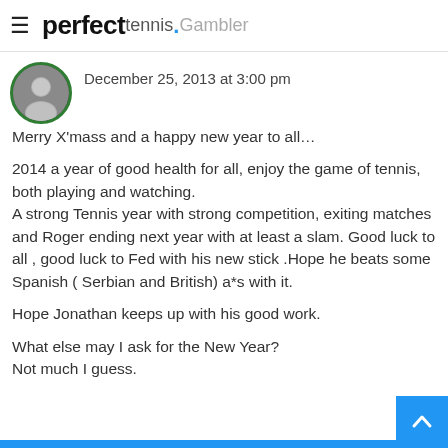perfect tennis. Gambler
December 25, 2013 at 3:00 pm
Merry X'mass and a happy new year to all…
2014 a year of good health for all, enjoy the game of tennis, both playing and watching.
A strong Tennis year with strong competition, exiting matches and Roger ending next year with at least a slam. Good luck to all , good luck to Fed with his new stick .Hope he beats some Spanish ( Serbian and British) a*s with it.
Hope Jonathan keeps up with his good work.
What else may I ask for the New Year? Not much I guess.